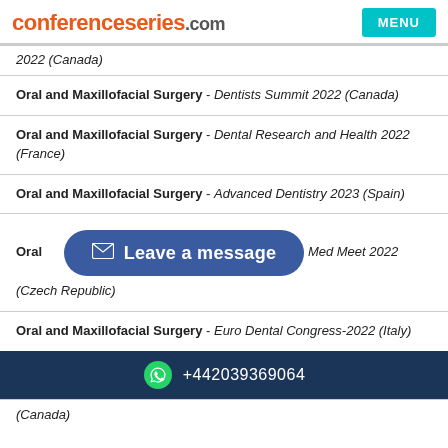conferenceseries.com | MENU
2022 (Canada)
Oral and Maxillofacial Surgery - Dentists Summit 2022 (Canada)
Oral and Maxillofacial Surgery - Dental Research and Health 2022 (France)
Oral and Maxillofacial Surgery - Advanced Dentistry 2023 (Spain)
Oral and Maxillofacial Surgery - [Dent Med Meet 2022] (Czech Republic)
Oral and Maxillofacial Surgery - Euro Dental Congress-2022 (Italy)
+442039369064
(Canada)